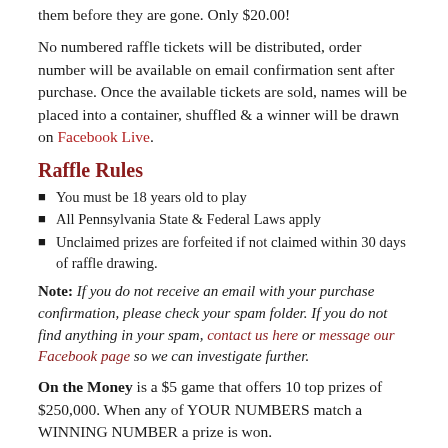them before they are gone. Only $20.00!
No numbered raffle tickets will be distributed, order number will be available on email confirmation sent after purchase. Once the available tickets are sold, names will be placed into a container, shuffled & a winner will be drawn on Facebook Live.
Raffle Rules
You must be 18 years old to play
All Pennsylvania State & Federal Laws apply
Unclaimed prizes are forfeited if not claimed within 30 days of raffle drawing.
Note: If you do not receive an email with your purchase confirmation, please check your spam folder. If you do not find anything in your spam, contact us here or message our Facebook page so we can investigate further.
On the Money is a $5 game that offers 10 top prizes of $250,000. When any of YOUR NUMBERS match a WINNING NUMBER a prize is won.